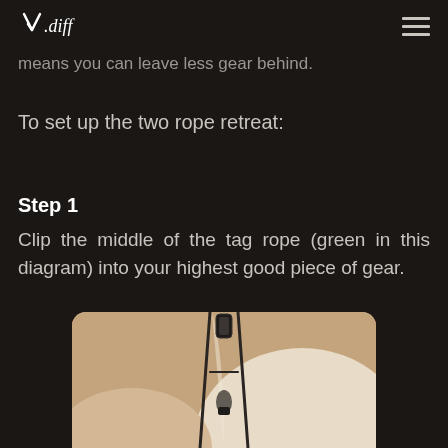V.diff
means you can leave less gear behind.
To set up the two rope retreat:
Step 1
Clip the middle of the tag rope (green in this diagram) into your highest good piece of gear.
[Figure (illustration): Illustration showing climbing rope setup with carabiners clipped to a piece of gear against a tan/beige rock face background]